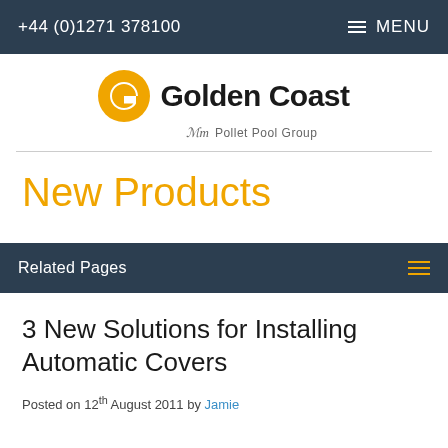+44 (0)1271 378100   ≡ MENU
[Figure (logo): Golden Coast logo with orange G icon and text 'Golden Coast', subtitle 'Pollet Pool Group']
New Products
Related Pages
3 New Solutions for Installing Automatic Covers
Posted on 12th August 2011 by Jamie